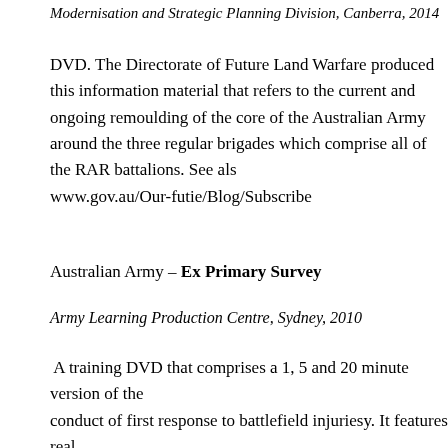Modernisation and Strategic Planning Division, Canberra, 2014
DVD. The Directorate of Future Land Warfare produced this information material that refers to the current and ongoing remoulding of the core of the Australian Army around the three regular brigades which comprise all of the RAR battalions. See also www.gov.au/Our-futie/Blog/Subscribe
Australian Army – Ex Primary Survey
Army Learning Production Centre, Sydney, 2010
A training DVD that comprises a 1, 5 and 20 minute version of the conduct of first response to battlefield injuriesy. It features real operational footage from East Timor, Iraq and Afghanistan as background scene setting, and also features 6 RAR soldiers among